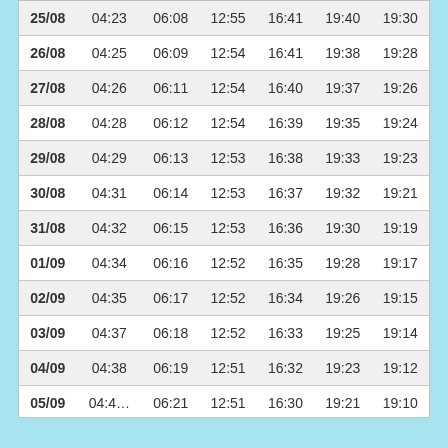| 25/08 | 04:23 | 06:08 | 12:55 | 16:41 | 19:40 | 19:30 |
| 26/08 | 04:25 | 06:09 | 12:54 | 16:41 | 19:38 | 19:28 |
| 27/08 | 04:26 | 06:11 | 12:54 | 16:40 | 19:37 | 19:26 |
| 28/08 | 04:28 | 06:12 | 12:54 | 16:39 | 19:35 | 19:24 |
| 29/08 | 04:29 | 06:13 | 12:53 | 16:38 | 19:33 | 19:23 |
| 30/08 | 04:31 | 06:14 | 12:53 | 16:37 | 19:32 | 19:21 |
| 31/08 | 04:32 | 06:15 | 12:53 | 16:36 | 19:30 | 19:19 |
| 01/09 | 04:34 | 06:16 | 12:52 | 16:35 | 19:28 | 19:17 |
| 02/09 | 04:35 | 06:17 | 12:52 | 16:34 | 19:26 | 19:15 |
| 03/09 | 04:37 | 06:18 | 12:52 | 16:33 | 19:25 | 19:14 |
| 04/09 | 04:38 | 06:19 | 12:51 | 16:32 | 19:23 | 19:12 |
| 05/09 | 04:4… | 06:21 | 12:51 | 16:30 | 19:21 | 19:10 |